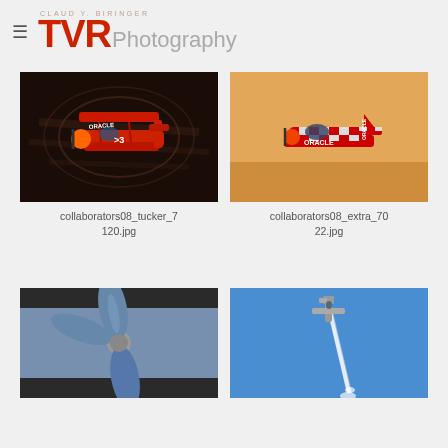TVR Photography
[Figure (photo): Red Oracle biplane aircraft in flight with motion blur trails against dark background]
collaborators08_tucker_7120.jpg
[Figure (photo): Red and white checkered Oracle aerobatic plane flying against warm sunset sky]
collaborators08_extra_7022.jpg
[Figure (photo): Close-up of blue aircraft propeller and nose detail]
[Figure (photo): Small aerobatic aircraft performing vertical maneuver with smoke trail against blue sky]